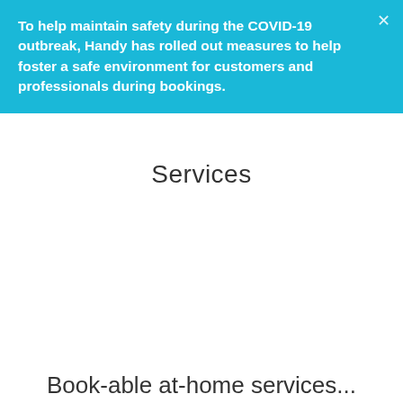To help maintain safety during the COVID-19 outbreak, Handy has rolled out measures to help foster a safe environment for customers and professionals during bookings.
Services
Book-able at-home services...